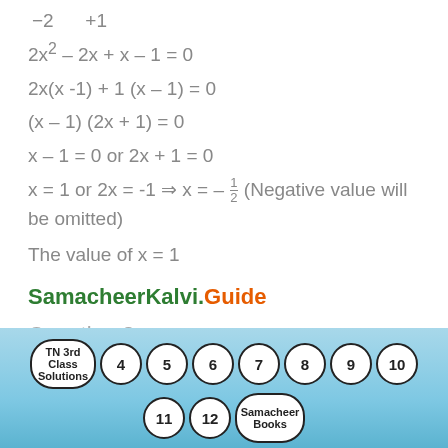The value of x = 1
SamacheerKalvi.Guide
Question 2.
[Figure (infographic): Navigation circles: TN 3rd Class Solutions, 4, 5, 6, 7, 8, 9, 10, 11, 12, Samacheer Books on a blue gradient background]